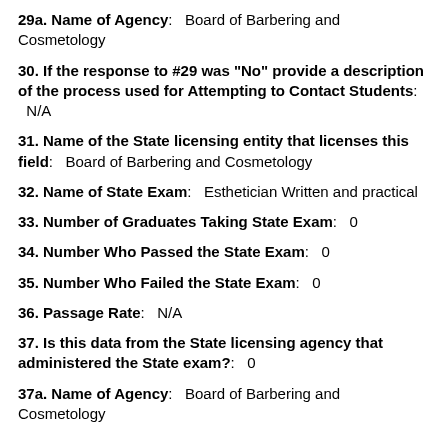29a. Name of Agency: Board of Barbering and Cosmetology
30. If the response to #29 was "No" provide a description of the process used for Attempting to Contact Students: N/A
31. Name of the State licensing entity that licenses this field: Board of Barbering and Cosmetology
32. Name of State Exam: Esthetician Written and practical
33. Number of Graduates Taking State Exam: 0
34. Number Who Passed the State Exam: 0
35. Number Who Failed the State Exam: 0
36. Passage Rate: N/A
37. Is this data from the State licensing agency that administered the State exam?: 0
37a. Name of Agency: Board of Barbering and Cosmetology